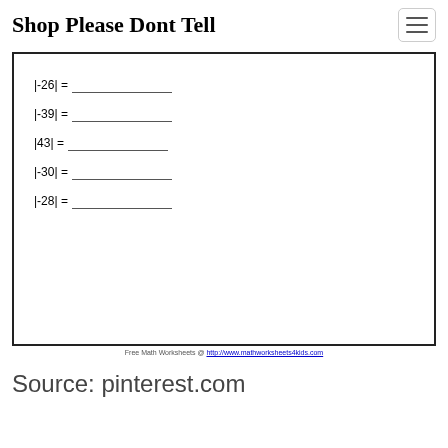Shop Please Dont Tell
[Figure (other): Math worksheet with absolute value problems: |-26| = ___, |-39| = ___, |43| = ___, |-30| = ___, |-28| = ___]
Free Math Worksheets @ http://www.mathworksheets4kids.com
Source: pinterest.com